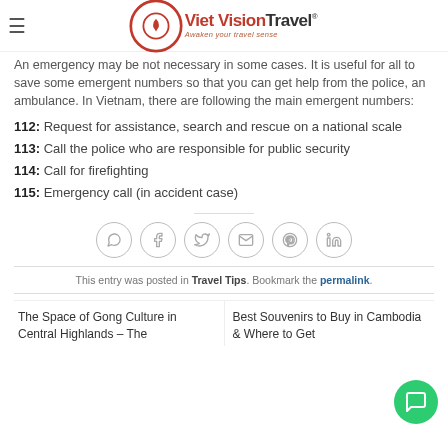Viet Vision Travel — Awaken your travel sense
An emergency may be not necessary in some cases. It is useful for all to save some emergent numbers so that you can get help from the police, an ambulance. In Vietnam, there are following the main emergent numbers:
112: Request for assistance, search and rescue on a national scale
113: Call the police who are responsible for public security
114: Call for firefighting
115: Emergency call (in accident case)
[Figure (infographic): Social sharing icons: WhatsApp, Facebook, Twitter, Email, Pinterest, LinkedIn — circular grey outline buttons]
This entry was posted in Travel Tips. Bookmark the permalink.
The Space of Gong Culture in Central Highlands – The
Best Souvenirs to Buy in Cambodia & Where to Get